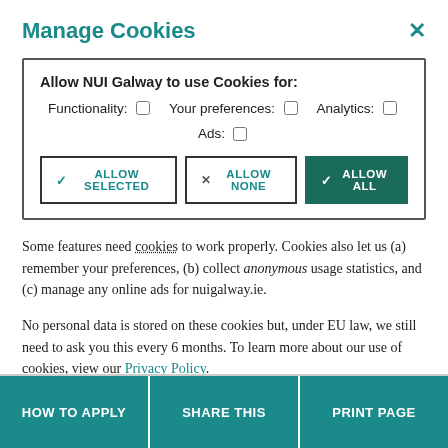Manage Cookies
[Figure (screenshot): Cookie consent panel with checkboxes for Functionality, Your preferences, Analytics, Ads, and three buttons: Allow Selected, Allow None, Allow All]
Some features need cookies to work properly. Cookies also let us (a) remember your preferences, (b) collect anonymous usage statistics, and (c) manage any online ads for nuigalway.ie.
No personal data is stored on these cookies but, under EU law, we still need to ask you this every 6 months. To learn more about our use of cookies, view our Privacy Policy.
HOW TO APPLY   SHARE THIS   PRINT PAGE